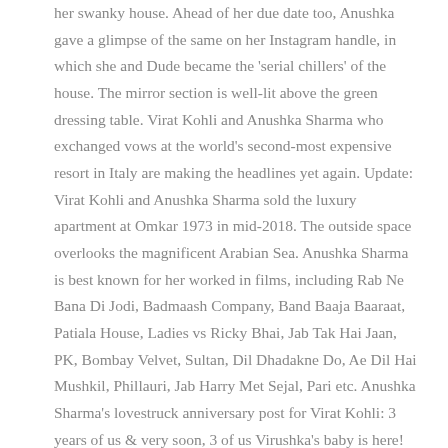her swanky house. Ahead of her due date too, Anushka gave a glimpse of the same on her Instagram handle, in which she and Dude became the 'serial chillers' of the house. The mirror section is well-lit above the green dressing table. Virat Kohli and Anushka Sharma who exchanged vows at the world's second-most expensive resort in Italy are making the headlines yet again. Update: Virat Kohli and Anushka Sharma sold the luxury apartment at Omkar 1973 in mid-2018. The outside space overlooks the magnificent Arabian Sea. Anushka Sharma is best known for her worked in films, including Rab Ne Bana Di Jodi, Badmaash Company, Band Baaja Baaraat, Patiala House, Ladies vs Ricky Bhai, Jab Tak Hai Jaan, PK, Bombay Velvet, Sultan, Dil Dhadakne Do, Ae Dil Hai Mushkil, Phillauri, Jab Harry Met Sejal, Pari etc. Anushka Sharma's lovestruck anniversary post for Virat Kohli: 3 years of us & very soon, 3 of us Virushka's baby is here! Virat took to social media to share that the couple welcomed their first child on Monday afternoon. Soon to be parents Anushka Sharma and Virat Kohli are among the renowned couples who are under the constant glare of media and paparazzi. She has established a career in Hindi films, and is one of the most popular